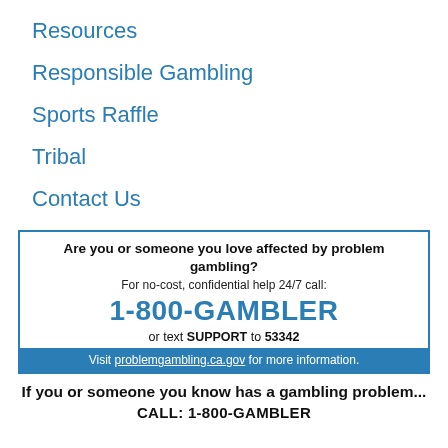Resources
Responsible Gambling
Sports Raffle
Tribal
Contact Us
Are you or someone you love affected by problem gambling? For no-cost, confidential help 24/7 call: 1-800-GAMBLER or text SUPPORT to 53342. Visit problemgambling.ca.gov for more information.
If you or someone you know has a gambling problem...
CALL: 1-800-GAMBLER